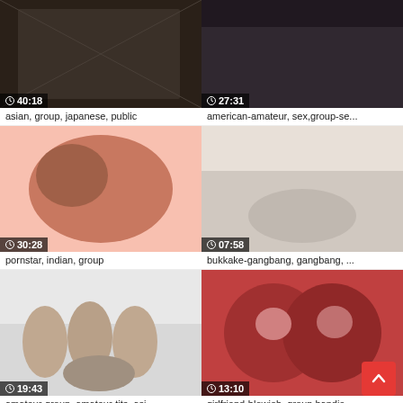[Figure (screenshot): Video thumbnail grid showing 8 video thumbnails in 2 columns with durations and tags]
asian, group, japanese, public
american-amateur, sex,group-se...
pornstar, indian, group
bukkake-gangbang, gangbang, ...
amateur-group, amateur-tits, asi...
girlfriend-blowjob, group handjo...